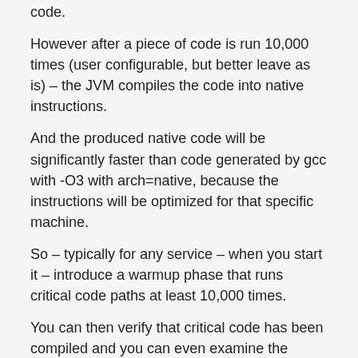code.
However after a piece of code is run 10,000 times (user configurable, but better leave as is) – the JVM compiles the code into native instructions.
And the produced native code will be significantly faster than code generated by gcc with -O3 with arch=native, because the instructions will be optimized for that specific machine.
So – typically for any service – when you start it – introduce a warmup phase that runs critical code paths at least 10,000 times.
You can then verify that critical code has been compiled and you can even examine the generated assembly.
2. GC – GC can be a killer. While the Zing JVM offers pauseless GC, the best strategy is to generate 0 garbage.
Always re-use objects. Watch for whenever